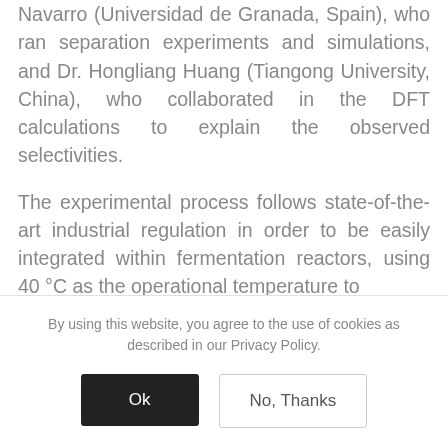Navarro (Universidad de Granada, Spain), who ran separation experiments and simulations, and Dr. Hongliang Huang (Tiangong University, China), who collaborated in the DFT calculations to explain the observed selectivities.
The experimental process follows state-of-the-art industrial regulation in order to be easily integrated within fermentation reactors, using 40 °C as the operational temperature to
By using this website, you agree to the use of cookies as described in our Privacy Policy.
Ok
No, Thanks